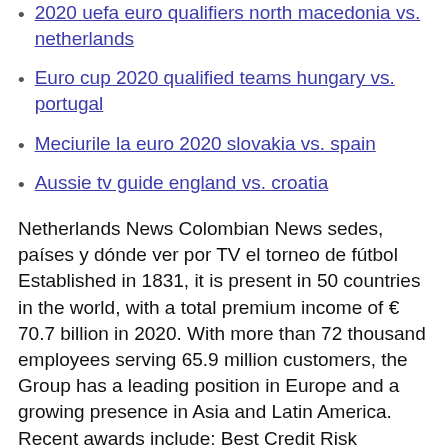2020 uefa euro qualifiers north macedonia vs. netherlands
Euro cup 2020 qualified teams hungary vs. portugal
Meciurile la euro 2020 slovakia vs. spain
Aussie tv guide england vs. croatia
Netherlands News Colombian News sedes, países y dónde ver por TV el torneo de fútbol Established in 1831, it is present in 50 countries in the world, with a total premium income of € 70.7 billion in 2020. With more than 72 thousand employees serving 65.9 million customers, the Group has a leading position in Europe and a growing presence in Asia and Latin America. Recent awards include: Best Credit Risk Management Product; Best Research Provider; Best Low-Latency